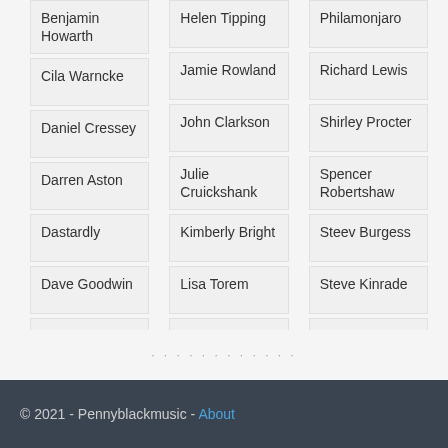Benjamin Howarth
Cila Warncke
Daniel Cressey
Darren Aston
Dastardly
Dave Goodwin
Denzil Watson
Helen Tipping
Jamie Rowland
John Clarkson
Julie Cruickshank
Kimberly Bright
Lisa Torem
Maarten Schiethart
Philamonjaro
Richard Lewis
Shirley Procter
Spencer Robertshaw
Steev Burgess
Steve Kinrade
Steve Miles
© 2021 - Pennyblackmusic - About